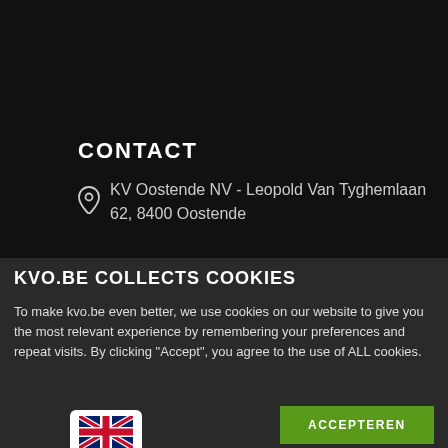CONTACT
KV Oostende NV - Leopold Van Tyghemlaan 62, 8400 Oostende
KVO.BE COLLECTS COOKIES
To make kvo.be even better, we use cookies on our website to give you the most relevant experience by remembering your preferences and repeat visits. By clicking "Accept", you agree to the use of ALL cookies.
ACCEPTEREN